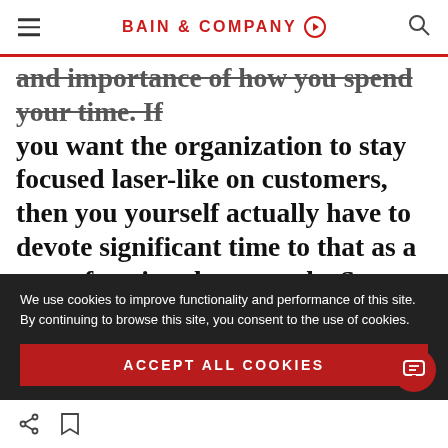BAIN & COMPANY
and importance of how you spend your time. If you want the organization to stay focused laser-like on customers, then you yourself actually have to devote significant time to that as a way of setting the example. Start leadership team meetings or business reviews not with a review of the financials but with a review of customers
We use cookies to improve functionality and performance of this site. By continuing to browse this site, you consent to the use of cookies.
ACCEPT ALL COOKIES